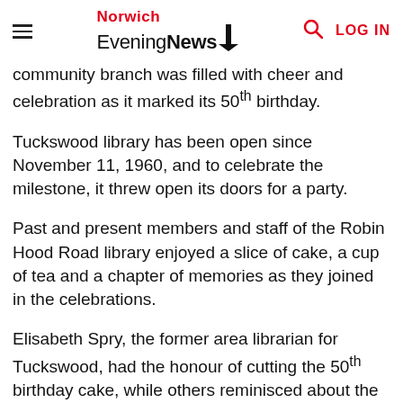Norwich Evening News
community branch was filled with cheer and celebration as it marked its 50th birthday.
Tuckswood library has been open since November 11, 1960, and to celebrate the milestone, it threw open its doors for a party.
Past and present members and staff of the Robin Hood Road library enjoyed a slice of cake, a cup of tea and a chapter of memories as they joined in the celebrations.
Elisabeth Spry, the former area librarian for Tuckswood, had the honour of cutting the 50th birthday cake, while others reminisced about the past five decades.
The Norfolk County Council-run library has become